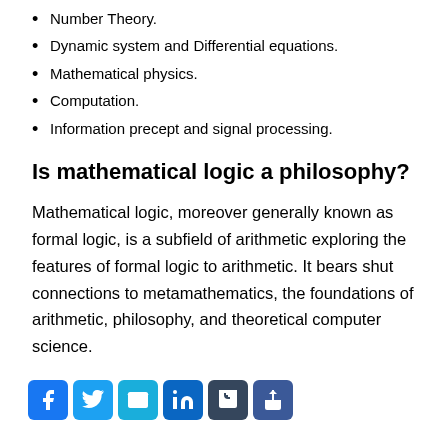Number Theory.
Dynamic system and Differential equations.
Mathematical physics.
Computation.
Information precept and signal processing.
Is mathematical logic a philosophy?
Mathematical logic, moreover generally known as formal logic, is a subfield of arithmetic exploring the features of formal logic to arithmetic. It bears shut connections to metamathematics, the foundations of arithmetic, philosophy, and theoretical computer science.